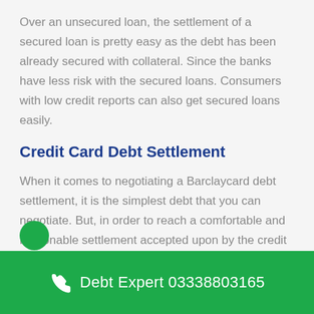Over an unsecured loan, the settlement of a secured loan is pretty easy as the debt has been already secured with collateral. Since the banks have less risk with the secured loans. Consumers with low credit reports can also get secured loans easily.
Credit Card Debt Settlement
When it comes to negotiating a Barclaycard debt settlement, it is the simplest debt that you can negotiate. But, in order to reach a comfortable and reasonable settlement accepted upon by the credit card agency and yourself, it will take certain time.
Further Queries that you
Debt Expert 03338803165